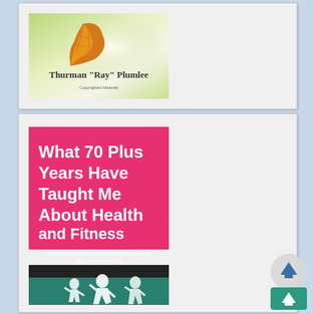[Figure (photo): Book cover for a book by Thurman 'Ray' Plumlee with an autumn leaf illustration on a green and white background. Text reads 'Thurman Ray Plumlee' and 'Copyrighted Material'.]
[Figure (photo): Book cover titled 'What 70 Plus Years Have Taught Me About Health and Fitness' with subtitle 'Growing Old Is Not For The Faint Of Heart Or How I Handle Aging'. Pink top section with white text, dark band, and teal bottom with white silhouettes of people exercising/running.]